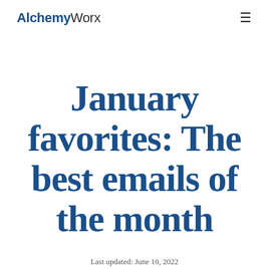AlchemyWorx
January favorites: The best emails of the month
Last updated: June 10, 2022